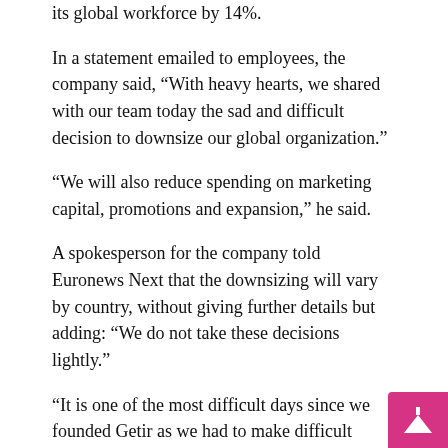its global workforce by 14%.
In a statement emailed to employees, the company said, “With heavy hearts, we shared with our team today the sad and difficult decision to downsize our global organization.”
“We will also reduce spending on marketing capital, promotions and expansion,” he said.
A spokesperson for the company told Euronews Next that the downsizing will vary by country, without giving further details but adding: “We do not take these decisions lightly.”
“It is one of the most difficult days since we founded Getir as we had to make difficult decisions regarding our staff organization which will negatively affect some members of our team,” the spokesperson said.
Gorillas: focus on profitability
Getir’s main rival, Berlin-based Gorillas, also announced on May 24 that it was laying off 300 of its employees. The “extremely difficult decision” was